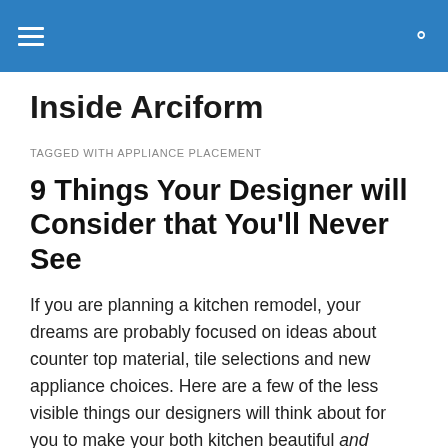Inside Arciform — navigation header with hamburger menu and search icon
Inside Arciform
TAGGED WITH APPLIANCE PLACEMENT
9 Things Your Designer will Consider that You'll Never See
If you are planning a kitchen remodel, your dreams are probably focused on ideas about counter top material, tile selections and new appliance choices. Here are a few of the less visible things our designers will think about for you to make your both kitchen beautiful and functional.